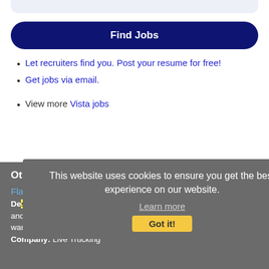Find Jobs
Let recruiters find you. Post your resume for free!
Get jobs via email.
View more Vista jobs
Other Jobs
Flatbed Truck Driver
Description: Hiring CDL Flatbed drivers in Yucaipa, CA. Apply once and choose a trucking job that works for you. Get home when you want to, and get paid what you deserve br Available Trucking Jobs:
Company: Live Trucking
This website uses cookies to ensure you get the best experience on our website. Learn more Got it!